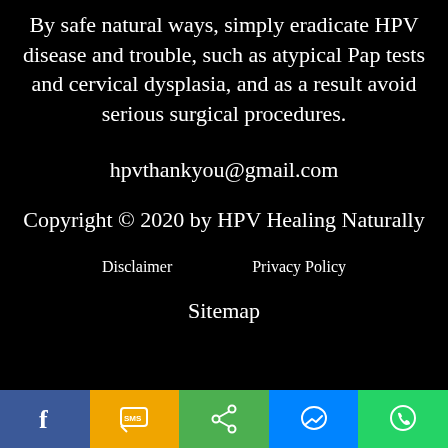By safe natural ways, simply eradicate HPV disease and trouble, such as atypical Pap tests and cervical dysplasia, and as a result avoid serious surgical procedures.
hpvthankyou@gmail.com
Copyright © 2020 by HPV Healing Naturally
Disclaimer   Privacy Policy
Sitemap
[Figure (other): Social sharing bar with Facebook, SMS, Share, Messenger, and WhatsApp buttons]